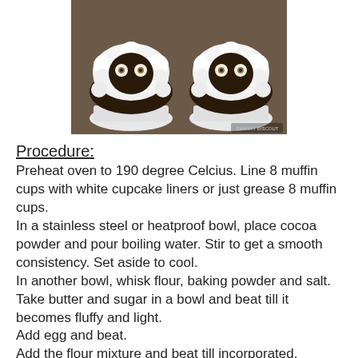[Figure (photo): Two chocolate cupcakes decorated with white frosting piped to look like sheep faces, with candy eyes, in white cupcake liners on a brown surface.]
Procedure:
Preheat oven to 190 degree Celcius. Line 8 muffin cups with white cupcake liners or just grease 8 muffin cups.
In a stainless steel or heatproof bowl, place cocoa powder and pour boiling water. Stir to get a smooth consistency. Set aside to cool.
In another bowl, whisk flour, baking powder and salt.
Take butter and sugar in a bowl and beat till it becomes fluffy and light.
Add egg and beat.
Add the flour mixture and beat till incorporated.